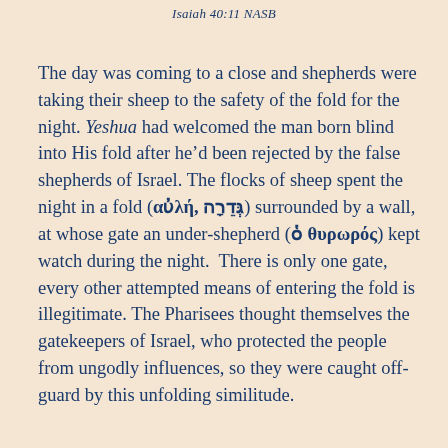Isaiah 40:11 NASB
The day was coming to a close and shepherds were taking their sheep to the safety of the fold for the night. Yeshua had welcomed the man born blind into His fold after he’d been rejected by the false shepherds of Israel. The flocks of sheep spent the night in a fold (αὐλή, גְּדֵרָה) surrounded by a wall, at whose gate an under-shepherd (ὁ θυρωρός) kept watch during the night. There is only one gate, every other attempted means of entering the fold is illegitimate. The Pharisees thought themselves the gatekeepers of Israel, who protected the people from ungodly influences, so they were caught off-guard by this unfolding similitude.